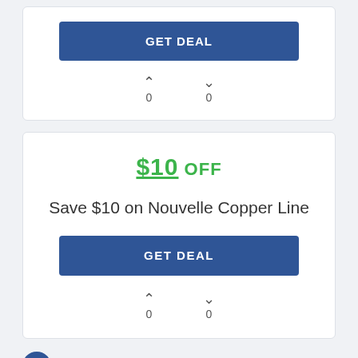[Figure (screenshot): GET DEAL button (blue) from top card]
0   0
$10 OFF
Save $10 on Nouvelle Copper Line
[Figure (screenshot): GET DEAL button (blue) for $10 off deal]
0   0
Select A Coupon & Pay…Whi…